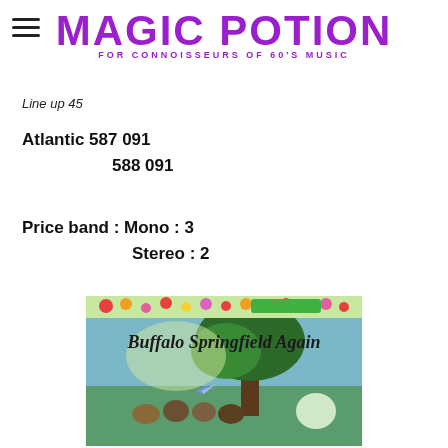MAGIC POTION — FOR CONNOISSEURS OF 60'S MUSIC
Line up 45
Atlantic 587 091
588 091
Price band : Mono : 3
Stereo : 2
[Figure (photo): Album cover of Buffalo Springfield Again showing the band sitting outdoors under a tree with floral decoration at the top]